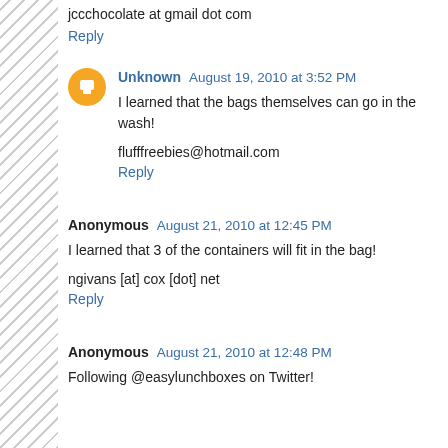jccchocolate at gmail dot com
Reply
Unknown  August 19, 2010 at 3:52 PM
I learned that the bags themselves can go in the wash!
flufffreebies@hotmail.com
Reply
Anonymous  August 21, 2010 at 12:45 PM
I learned that 3 of the containers will fit in the bag!
ngivans [at] cox [dot] net
Reply
Anonymous  August 21, 2010 at 12:48 PM
Following @easylunchboxes on Twitter!